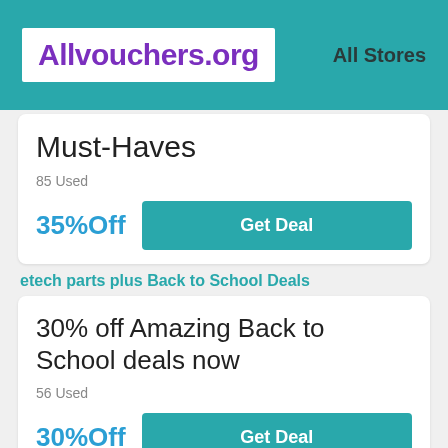Allvouchers.org  All Stores
Must-Haves
85 Used
35%Off
Get Deal
etech parts plus Back to School Deals
30% off Amazing Back to School deals now
56 Used
30%Off
Get Deal